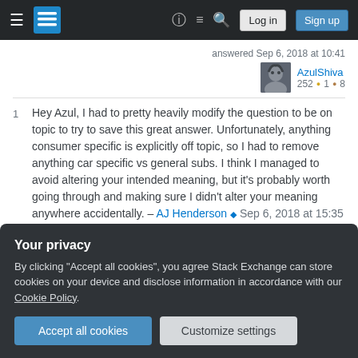Stack Exchange navigation bar with hamburger menu, logo, help, chat, search, Log in, Sign up buttons
answered Sep 6, 2018 at 10:41
AzulShiva 252 ●1 ●8
1  Hey Azul, I had to pretty heavily modify the question to be on topic to try to save this great answer. Unfortunately, anything consumer specific is explicitly off topic, so I had to remove anything car specific vs general subs. I think I managed to avoid altering your intended meaning, but it's probably worth going through and making sure I didn't alter your meaning anywhere accidentally. – AJ Henderson ♦ Sep 6, 2018 at 15:35
Your privacy
By clicking "Accept all cookies", you agree Stack Exchange can store cookies on your device and disclose information in accordance with our Cookie Policy.
Accept all cookies   Customize settings